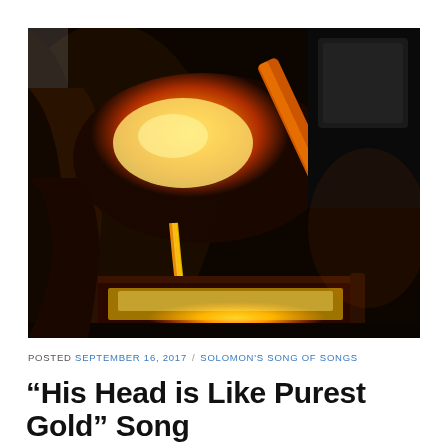[Figure (photo): Close-up photo of molten gold being poured from a ladle into a rectangular mold, glowing bright orange and yellow against a dark background.]
POSTED SEPTEMBER 16, 2017 / SOLOMON'S SONG OF SONGS
“His Head is Like Purest Gold” Song